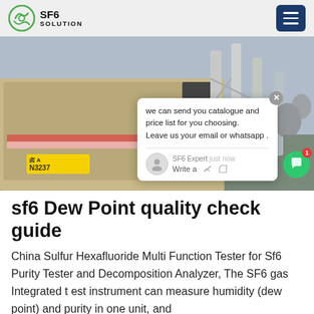SF6 SOLUTION
[Figure (photo): Industrial substation scene showing a truck with license plate N3237, large electrical infrastructure columns, equipment, and an overlay chat popup from SF6 Expert saying 'we can send you catalogue and price list for you choosing. Leave us your email or whatsapp .']
sf6 Dew Point quality check guide
China Sulfur Hexafluoride Multi Function Tester for Sf6 Purity Tester and Decomposition Analyzer, The SF6 gas Integrated t est instrument can measure humidity (dew point) and purity in one unit, and